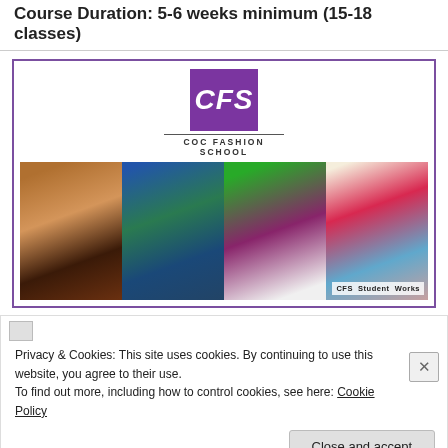Course Duration: 5-6 weeks minimum (15-18 classes)
[Figure (photo): CFS (COC Fashion School) logo with purple square and school name below a horizontal bar, above a collage of four photos showing fashion students with mannequins displaying handmade dresses. Bottom right watermark reads 'CFS Student Works'.]
Privacy & Cookies: This site uses cookies. By continuing to use this website, you agree to their use.
To find out more, including how to control cookies, see here: Cookie Policy